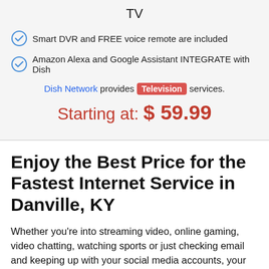TV
Smart DVR and FREE voice remote are included
Amazon Alexa and Google Assistant INTEGRATE with Dish
Dish Network provides Television services.
Starting at: $ 59.99
Enjoy the Best Price for the Fastest Internet Service in Danville, KY
Whether you're into streaming video, online gaming, video chatting, watching sports or just checking email and keeping up with your social media accounts, your internet service in Danville